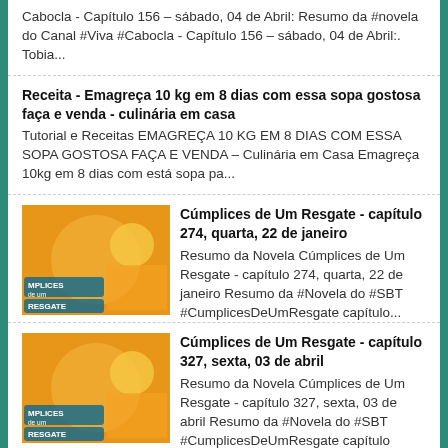Cabocla - Capítulo 156 – sábado, 04 de Abril: Resumo da #novela do Canal #Viva #Cabocla - Capítulo 156 – sábado, 04 de Abril:. Tobia...
Receita - Emagreça 10 kg em 8 dias com essa sopa gostosa faça e venda - culinária em casa
Tutorial e Receitas EMAGREÇA 10 KG EM 8 DIAS COM ESSA SOPA GOSTOSA FAÇA E VENDA – Culinária em Casa Emagreça 10kg em 8 dias com está sopa pa...
Cúmplices de Um Resgate - capítulo 274, quarta, 22 de janeiro
Resumo da Novela Cúmplices de Um Resgate - capítulo 274, quarta, 22 de janeiro Resumo da #Novela do #SBT #CumplicesDeUmResgate capítulo...
Cúmplices de Um Resgate - capítulo 327, sexta, 03 de abril
Resumo da Novela Cúmplices de Um Resgate - capítulo 327, sexta, 03 de abril Resumo da #Novela do #SBT #CumplicesDeUmResgate capítulo 327...